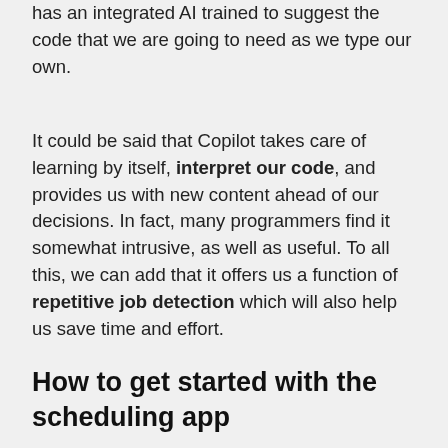has an integrated AI trained to suggest the code that we are going to need as we type our own.
It could be said that Copilot takes care of learning by itself, interpret our code, and provides us with new content ahead of our decisions. In fact, many programmers find it somewhat intrusive, as well as useful. To all this, we can add that it offers us a function of repetitive job detection which will also help us save time and effort.
How to get started with the scheduling app